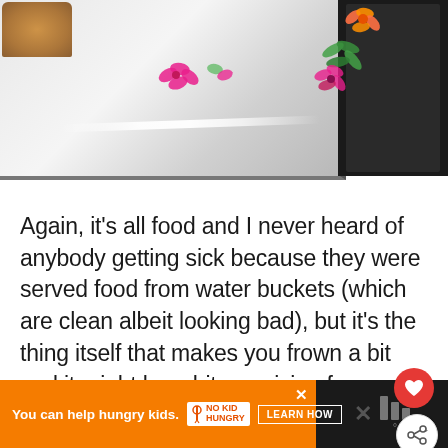[Figure (photo): Photo of a decorative tray/plate with floral patterns (pink and orange/green flowers) placed next to a dark notebook or device, with a food item visible in the upper left corner]
Again, it's all food and I never heard of anybody getting sick because they were served food from water buckets (which are clean albeit looking bad), but it's the thing itself that makes you frown a bit and it might be a bit surprising for somebody coming from more advanced countries.
[Figure (screenshot): Advertisement banner: 'You can help hungry kids.' with No Kid Hungry logo and LEARN HOW button on orange background, with dark section on right side]